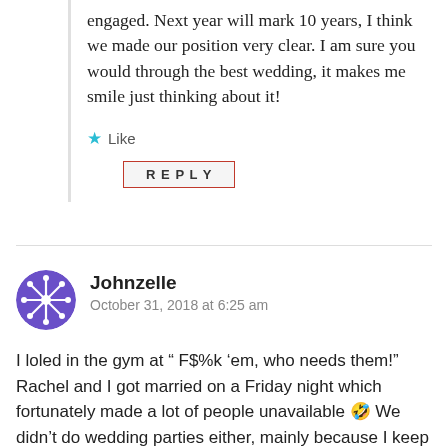engaged. Next year will mark 10 years, I think we made our position very clear. I am sure you would through the best wedding, it makes me smile just thinking about it!
★ Like
REPLY
Johnzelle
October 31, 2018 at 6:25 am
I loled in the gym at “ F$%k ‘em, who needs them!” Rachel and I got married on a Friday night which fortunately made a lot of people unavailable 🤣 We didn’t do wedding parties either, mainly because I keep a small circle and I would’ve had like 1.5 people on my side to her 23. Symmetry, people! I also didn’t allow plus ones of the people who weren’t married.